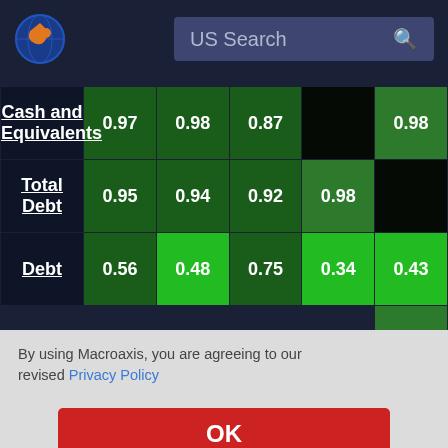US Search — Macroaxis financial data
| Metric | Col1 | Col2 | Col3 | Col4 | Col5 |
| --- | --- | --- | --- | --- | --- |
| Cash and Equivalents | 0.97 | 0.98 | 0.87 |  | 0.98 |
| Total Debt | 0.95 | 0.94 | 0.92 | 0.98 |  |
| Debt | 0.56 | 0.48 | 0.75 | 0.34 | 0.43 |
|  |  |  |  |  | 0.99 |
|  |  |  |  |  | -0.15 |
| Equity | 0.92 | 0.94 | 0.78 | 0.87 | 0.78 |
By using Macroaxis, you are agreeing to our revised Privacy Policy
OK